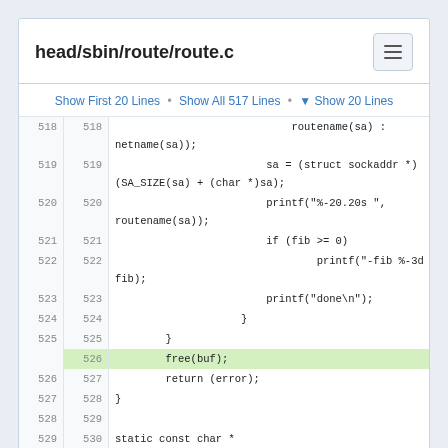head/sbin/route/route.c
Show First 20 Lines • Show All 517 Lines • ▼ Show 20 Lines
[Figure (screenshot): Source code viewer showing lines 518–534 of route.c with line numbers on left (original) and right (modified), with line 526 highlighted in green showing 'free(buf);' as an added line.]